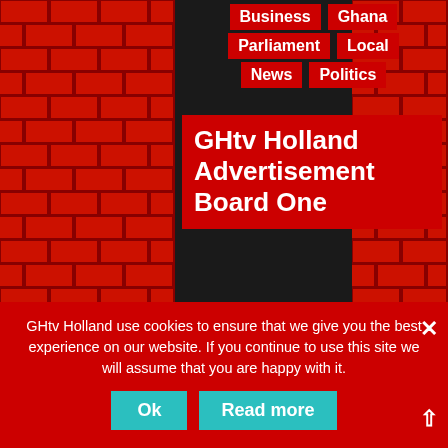Business
Ghana
Parliament
Local
News
Politics
GHtv Holland Advertisement Board One
GHtv Holland use cookies to ensure that we give you the best experience on our website. If you continue to use this site we will assume that you are happy with it.